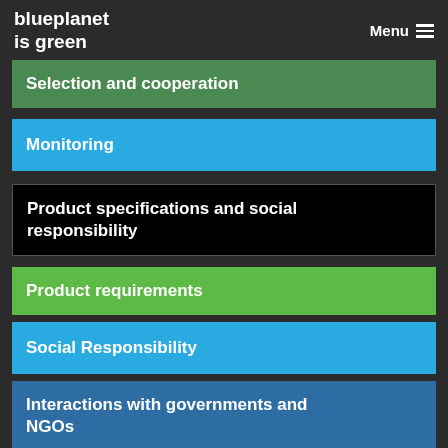blueplanet is green  Menu
Selection and cooperation
Monitoring
Product specifications and social responsibility
Product requirements
Social Responsibility
Interactions with governments and NGOs
Risk management and training